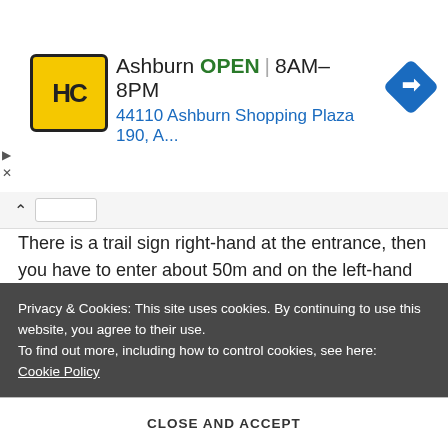[Figure (screenshot): Ad banner for HC store in Ashburn showing logo, OPEN status, hours 8AM-8PM, address 44110 Ashburn Shopping Plaza 190 A..., and navigation arrow icon]
There is a trail sign right-hand at the entrance, then you have to enter about 50m and on the left-hand you will see the parking lot and the trailhead.
If you go by bus, you can take a bus at the Albrook Bus Terminal route C800 (Check the schedule of this route
Privacy & Cookies: This site uses cookies. By continuing to use this website, you agree to their use.
To find out more, including how to control cookies, see here: Cookie Policy
CLOSE AND ACCEPT